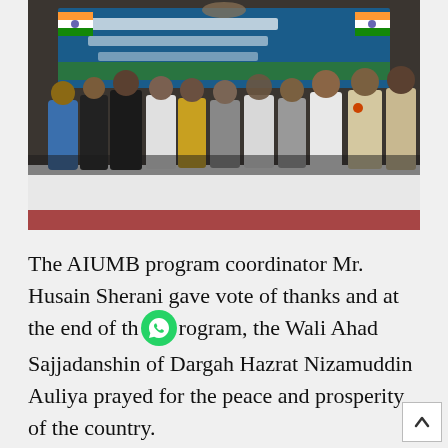[Figure (photo): Group photo of men standing on a stage in front of a banner with Indian flags and Urdu/Hindi text. The backdrop shows a white tablecloth-covered table. Multiple men in traditional Islamic dress and casual wear are standing together.]
The AIUMB program coordinator Mr. Husain Sherani gave vote of thanks and at the end of the program, the Wali Ahad Sajjadanshin of Dargah Hazrat Nizamuddin Auliya prayed for the peace and prosperity of the country.